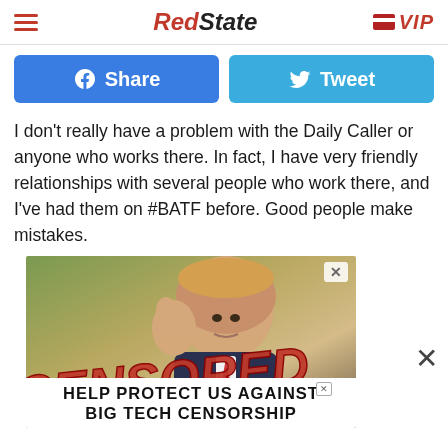RedState | VIP
[Figure (infographic): Facebook Share button and Twitter Tweet button, both blue, displayed side by side]
I don't really have a problem with the Daily Caller or anyone who works there. In fact, I have very friendly relationships with several people who work there, and I've had them on #BATF before. Good people make mistakes.
[Figure (photo): Photo of a person waving with a large red 'CENSORED' text overlay. Below the photo is an ad banner reading 'HELP PROTECT US AGAINST BIG TECH CENSORSHIP']